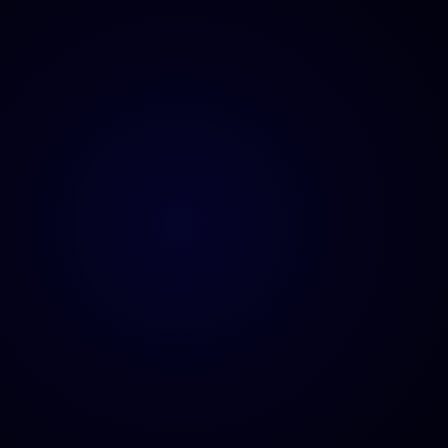[Figure (other): Solid very dark navy/black background filling the entire page, approximately #04031a color with slight variation suggesting a dark blue-black gradient or photographic dark background.]